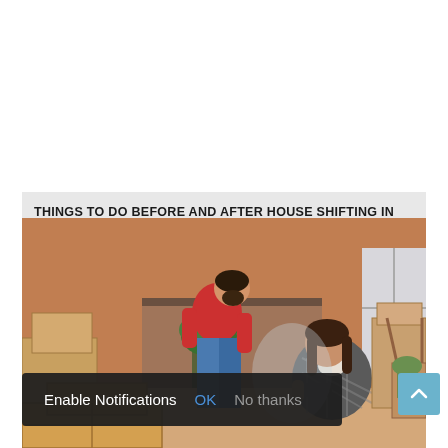THINGS TO DO BEFORE AND AFTER HOUSE SHIFTING IN NEW CITY
[Figure (photo): A man in a red shirt and jeans packing boxes in the background, and a woman in a plaid shirt sitting and working with boxes in the foreground, in a room with brick walls and moving boxes around them.]
Enable Notifications   OK   No thanks